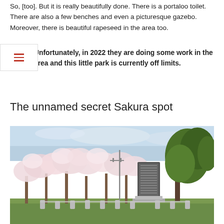So, [too]. But it is really beautifully done. There is a portaloo toilet. There are also a few benches and even a picturesque gazebo. Moreover, there is beautiful rapeseed in the area too.
Unfortunately, in 2022 they are doing some work in the area and this little park is currently off limits.
The unnamed secret Sakura spot
[Figure (photo): Photo of cherry blossom trees (sakura) in bloom in a park setting, with a stone monument/memorial in the center background, utility poles visible, green trees to the right, and grass in the foreground.]